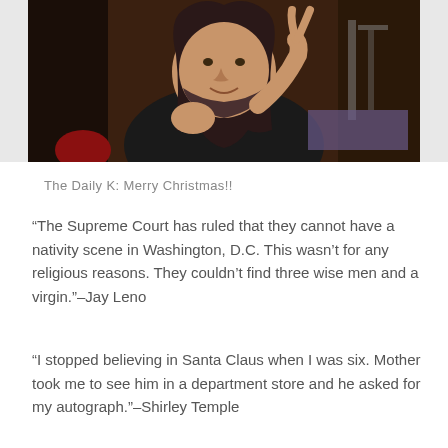[Figure (photo): Man in black t-shirt making a peace sign with his right hand, smiling, with long hair and beard, in an indoor setting with equipment visible in background]
The Daily K: Merry Christmas!!
“The Supreme Court has ruled that they cannot have a nativity scene in Washington, D.C. This wasn’t for any religious reasons. They couldn’t find three wise men and a virgin.”–Jay Leno
“I stopped believing in Santa Claus when I was six. Mother took me to see him in a department store and he asked for my autograph.”–Shirley Temple